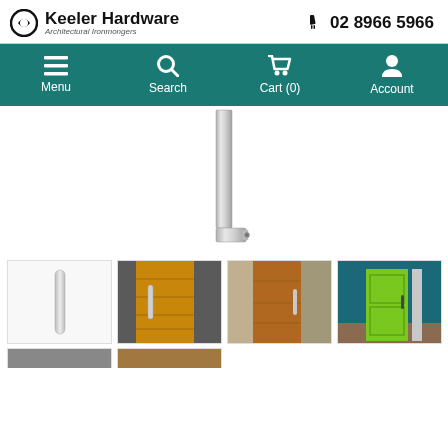Keeler Hardware – Architectural Ironmongers | 02 8966 5966
[Figure (screenshot): Navigation bar with teal background showing Menu, Search, Cart (0), and Account icons]
[Figure (photo): Product image: tall slim square-profile door pull handle in brushed stainless steel, shown vertically with a small foot bracket at the bottom]
[Figure (photo): Thumbnail 1: Slim round bar door pull handle in satin stainless steel on white background]
[Figure (photo): Thumbnail 2: Wooden front door with slim vertical pull handle on dark stone wall]
[Figure (photo): Thumbnail 3: Pivot front door in warm brown timber with stone wall surround, outdoor setting]
[Figure (photo): Thumbnail 4: Modern entryway with teal/blue wall and bright green door, with narrow panel to side]